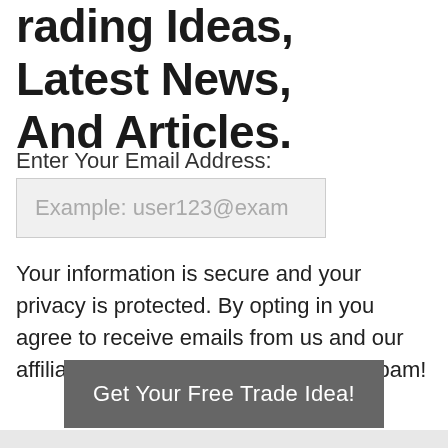Trading Ideas, Latest News, And Articles.
Enter Your Email Address:
Example: user123@exam
Your information is secure and your privacy is protected. By opting in you agree to receive emails from us and our affiliates. Opt-out any time, we hate spam!
Get Your Free Trade Idea!